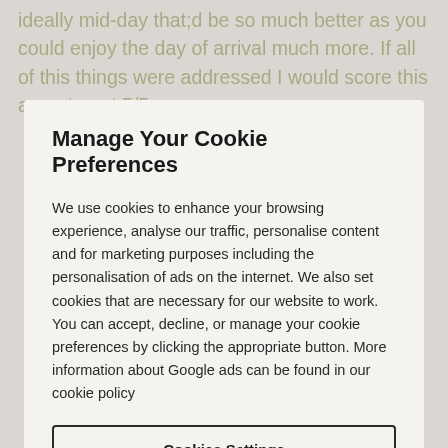ideally mid-day that;d be so much better as you could enjoy the day of arrival much more. If all of this things were addressed I would score this appartment 5/5
Manage Your Cookie Preferences
We use cookies to enhance your browsing experience, analyse our traffic, personalise content and for marketing purposes including the personalisation of ads on the internet. We also set cookies that are necessary for our website to work. You can accept, decline, or manage your cookie preferences by clicking the appropriate button. More information about Google ads can be found in our cookie policy
Cookies Settings
Reject all cookies
Accept all cookies